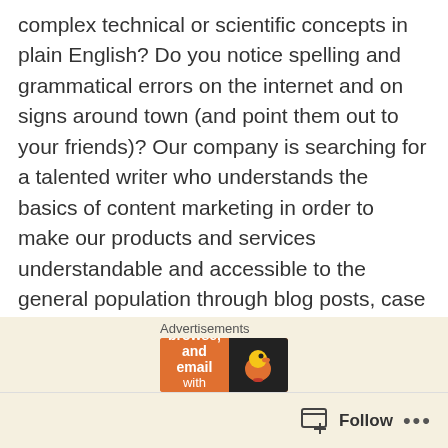complex technical or scientific concepts in plain English? Do you notice spelling and grammatical errors on the internet and on signs around town (and point them out to your friends)? Our company is searching for a talented writer who understands the basics of content marketing in order to make our products and services understandable and accessible to the general population through blog posts, case studies etc… Read more/Apply
BILLINGUAL COPYWRITER – Copywriting Jobs – Flipp – Toronto, ON: Do you want to join a team of high energy creatives? Are you always striving to catch your audience's eye and engage with them? If so, you might just be Flipp's first ever copywriter
Advertisements
[Figure (other): DuckDuckGo advertisement banner: orange section with bold text 'Search, browse, and email with more privacy.' and dark section with DuckDuckGo duck logo]
Follow ...